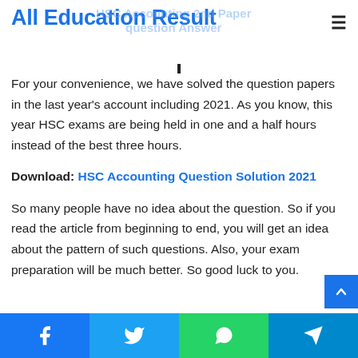All Education Result
For your convenience, we have solved the question papers in the last year’s account including 2021. As you know, this year HSC exams are being held in one and a half hours instead of the best three hours.
Download: HSC Accounting Question Solution 2021
So many people have no idea about the question. So if you read the article from beginning to end, you will get an idea about the pattern of such questions. Also, your exam preparation will be much better. So good luck to you.
Facebook Twitter WhatsApp Telegram